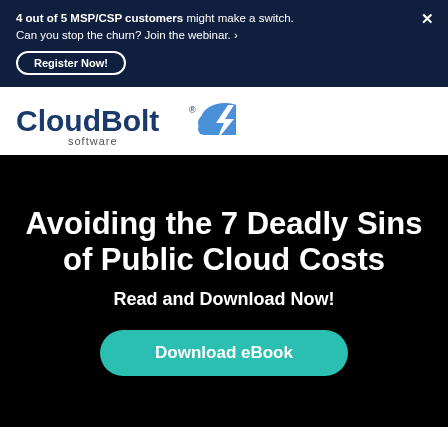4 out of 5 MSP/CSP customers might make a switch. Can you stop the churn? Join the webinar. › Register Now!
[Figure (logo): CloudBolt Software logo with cloud and lightning bolt icon in blue tones]
Avoiding the 7 Deadly Sins of Public Cloud Costs
Read and Download Now!
Download eBook